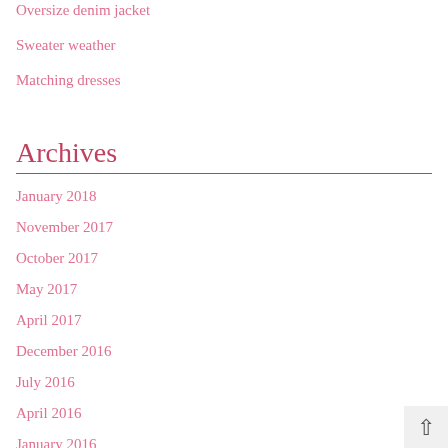Oversize denim jacket
Sweater weather
Matching dresses
Archives
January 2018
November 2017
October 2017
May 2017
April 2017
December 2016
July 2016
April 2016
January 2016